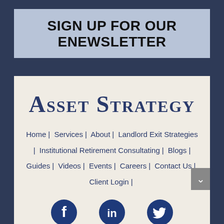SIGN UP FOR OUR ENEWSLETTER
[Figure (logo): Asset Strategy company logo with serif small-caps text]
Home | Services | About | Landlord Exit Strategies | Institutional Retirement Consultating | Blogs | Guides | Videos | Events | Careers | Contact Us | Client Login |
[Figure (infographic): Social media icons: Facebook, LinkedIn, Twitter in dark navy blue]
Powered By: Lone Beacon